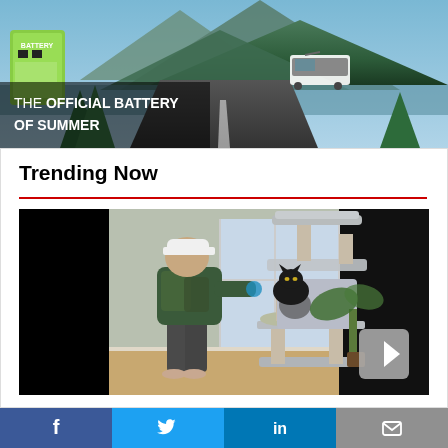[Figure (photo): Advertisement banner showing a road scene with mountains and a vehicle, text reads 'THE OFFICIAL BATTERY OF SUMMER']
Trending Now
[Figure (photo): Person in camouflage jacket and white cap playing with a black cat on a multi-level grey cat tree/tower near a window]
[Figure (infographic): Social sharing bar with Facebook, Twitter, LinkedIn, and email buttons]